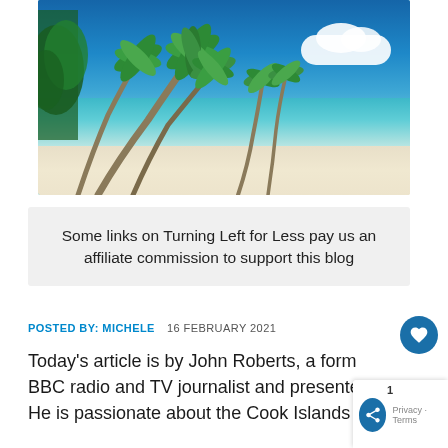[Figure (photo): Tropical beach scene with tall palm trees leaning over white sand, turquoise sea water, and a blue sky with white clouds in the background.]
Some links on Turning Left for Less pay us an affiliate commission to support this blog
POSTED BY: MICHELE   16 FEBRUARY 2021
Today's article is by John Roberts, a form BBC radio and TV journalist and presente He is passionate about the Cook Islands and